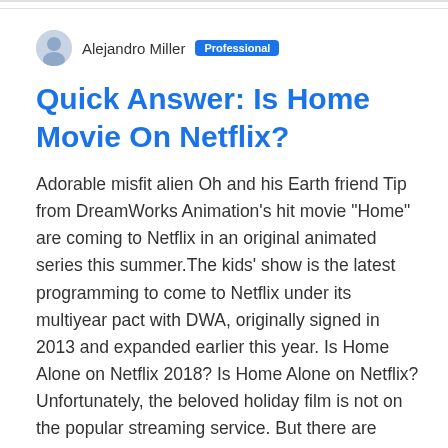Alejandro Miller | Professional
Quick Answer: Is Home Movie On Netflix?
Adorable misfit alien Oh and his Earth friend Tip from DreamWorks Animation's hit movie “Home” are coming to Netflix in an original animated series this summer.The kids' show is the latest programming to come to Netflix under its multiyear pact with DWA, originally signed in 2013 and expanded earlier this year. Is Home Alone on Netflix 2018? Is Home Alone on Netflix? Unfortunately, the beloved holiday film is not on the popular streaming service. But there are other ways you can watch Home Alone if you don't have cable. Home is available to stream online through YouTube, Amazon Prime,